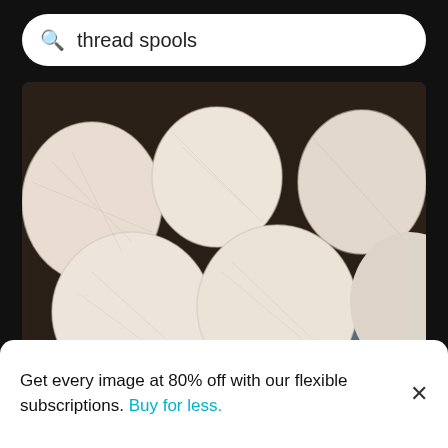thread spools
[Figure (photo): Overhead close-up of multiple pale pink/cream yarn thread spool balls clustered together on a dark mesh background]
Full frame shot of strings
[Figure (photo): Blurred overhead shot of colorful thread spools and pins arranged on a white surface, with a second image of colorful thread spools on display racks]
Get every image at 80% off with our flexible subscriptions. Buy for less.